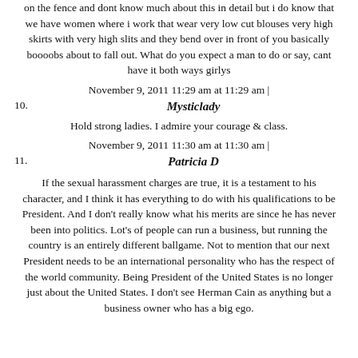on the fence and dont know much about this in detail but i do know that we have women where i work that wear very low cut blouses very high skirts with very high slits and they bend over in front of you basically boooobs about to fall out. What do you expect a man to do or say, cant have it both ways girlys
November 9, 2011 11:29 am at 11:29 am |
10. Mysticlady
Hold strong ladies. I admire your courage & class.
November 9, 2011 11:30 am at 11:30 am |
11. Patricia D
If the sexual harassment charges are true, it is a testament to his character, and I think it has everything to do with his qualifications to be President. And I don't really know what his merits are since he has never been into politics. Lot's of people can run a business, but running the country is an entirely different ballgame. Not to mention that our next President needs to be an international personality who has the respect of the world community. Being President of the United States is no longer just about the United States. I don't see Herman Cain as anything but a business owner who has a big ego.